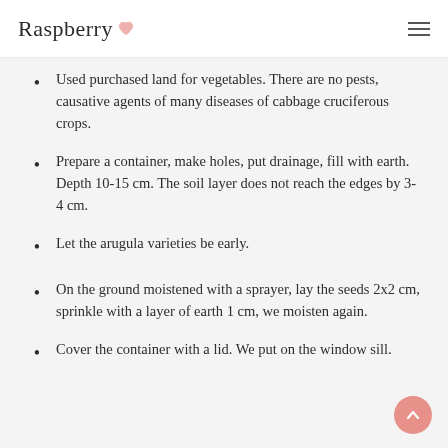Raspberry
Used purchased land for vegetables. There are no pests, causative agents of many diseases of cabbage cruciferous crops.
Prepare a container, make holes, put drainage, fill with earth. Depth 10-15 cm. The soil layer does not reach the edges by 3-4 cm.
Let the arugula varieties be early.
On the ground moistened with a sprayer, lay the seeds 2x2 cm, sprinkle with a layer of earth 1 cm, we moisten again.
Cover the container with a lid. We put on the window sill.